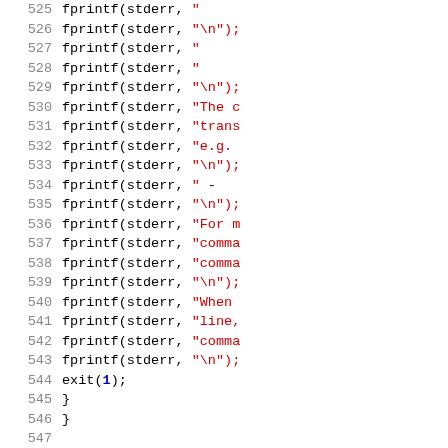[Figure (screenshot): Source code listing lines 525-554, showing C++ code with fprintf and log function calls, syntax highlighted with blue keywords and red strings.]